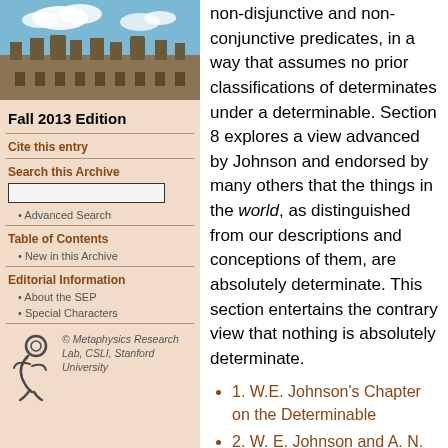[Figure (photo): Photograph of a historic stone university building with blue sky and clouds]
Fall 2013 Edition
Cite this entry
Search this Archive
Advanced Search
Table of Contents
New in this Archive
Editorial Information
About the SEP
Special Characters
[Figure (logo): Metaphysics Research Lab CSLI Stanford University logo with spiral figure]
© Metaphysics Research Lab, CSLI, Stanford University
non-disjunctive and non-conjunctive predicates, in a way that assumes no prior classifications of determinates under a determinable. Section 8 explores a view advanced by Johnson and endorsed by many others that the things in the world, as distinguished from our descriptions and conceptions of them, are absolutely determinate. This section entertains the contrary view that nothing is absolutely determinate.
1. W.E. Johnson's Chapter on the Determinable
2. W. E. Johnson and A. N. Prior